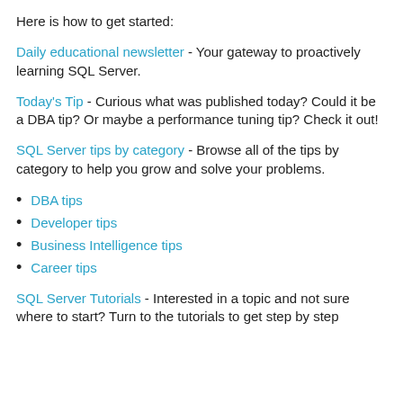Here is how to get started:
Daily educational newsletter - Your gateway to proactively learning SQL Server.
Today's Tip - Curious what was published today?  Could it be a DBA tip?  Or maybe a performance tuning tip?  Check it out!
SQL Server tips by category - Browse all of the tips by category to help you grow and solve your problems.
DBA tips
Developer tips
Business Intelligence tips
Career tips
SQL Server Tutorials - Interested in a topic and not sure where to start?  Turn to the tutorials to get step by step